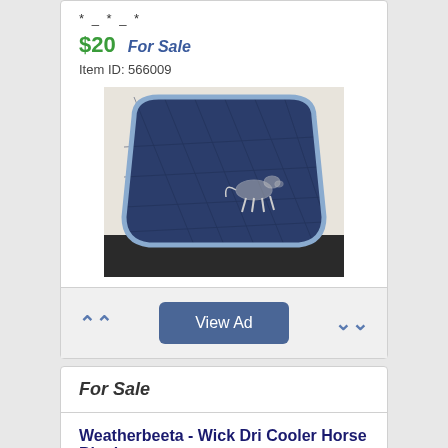* _ * _ *
$20   For Sale
Item ID:  566009
[Figure (photo): Navy blue quilted saddle pad with white horse embroidery, displayed on a black chair]
View Ad
For Sale
Weatherbeeta - Wick Dri Cooler Horse Blanket